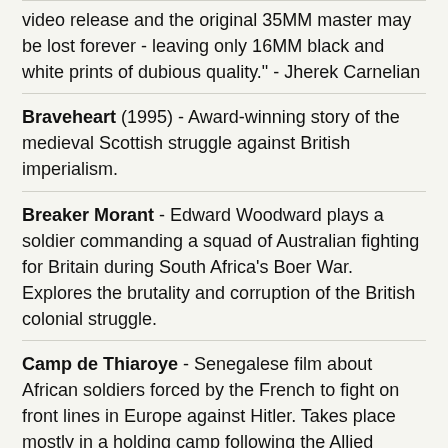video release and the original 35MM master may be lost forever - leaving only 16MM black and white prints of dubious quality." - Jherek Carnelian
Braveheart (1995) - Award-winning story of the medieval Scottish struggle against British imperialism.
Breaker Morant - Edward Woodward plays a soldier commanding a squad of Australian fighting for Britain during South Africa's Boer War. Explores the brutality and corruption of the British colonial struggle.
Camp de Thiaroye - Senegalese film about African soldiers forced by the French to fight on front lines in Europe against Hitler. Takes place mostly in a holding camp following the Allied Victory. Also, see Sembene's "Black Girl," about a Senegalese woman who leaves Dakar to be a nanny for her French employers, is exploited and learns the true nature of black-white neo-imperialist relations.
Coming Home (1978) - Jane Fonda and Jon Voight in one of the first post-Vietnam films about